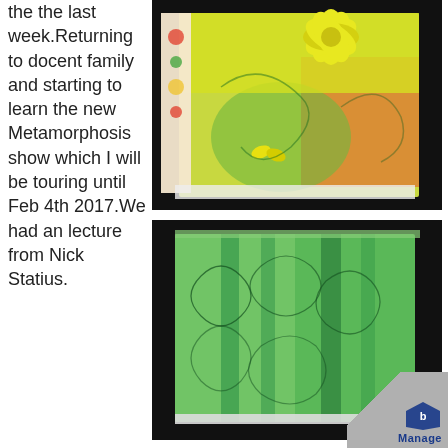the the last week.Returning to docent family and starting to learn the new Metamorphosis show which I will be touring until Feb 4th 2017.We had an lecture from Nick Statius.
[Figure (photo): Fabric art piece featuring a yellow flower on green and orange background, layered with floral patterned fabric, on a dark background]
[Figure (photo): Green quilted or dyed fabric square with stitched swirling patterns, laid on a dark background with a white paper visible at corner]